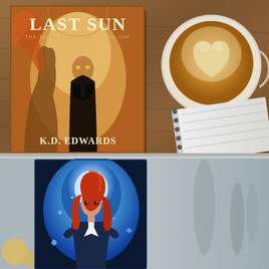[Figure (photo): Top half: flat-lay photo of a book titled 'Last Sun – The Tarot Sequence Book One' by K.D. Edwards, laid on a wooden surface next to a latte coffee cup with heart latte art, and the corner of a spiral notebook visible in the lower-right.]
[Figure (photo): Bottom half: photo showing the cover of another fantasy book featuring a red-haired female character with blue magical energy, partially cropped, set against a blurred light gray background.]